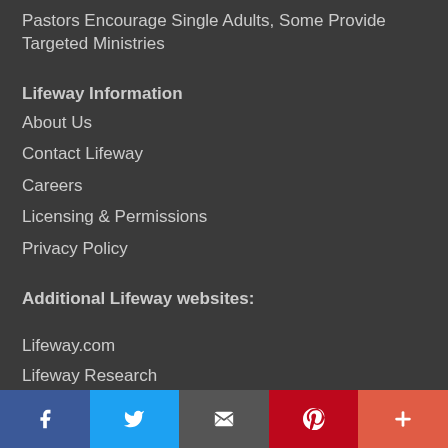Pastors Encourage Single Adults, Some Provide Targeted Ministries
Lifeway Information
About Us
Contact Lifeway
Careers
Licensing & Permissions
Privacy Policy
Additional Lifeway websites:
Lifeway.com
Lifeway Research
[Figure (infographic): Social media share buttons bar at the bottom: Facebook (dark blue), Twitter (light blue), Email (dark gray), Pinterest (dark red), More (orange-red)]